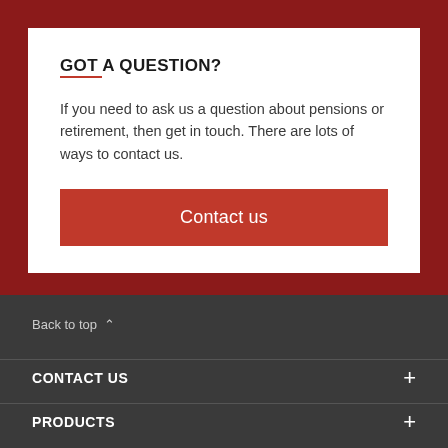GOT A QUESTION?
If you need to ask us a question about pensions or retirement, then get in touch. There are lots of ways to contact us.
Contact us
Back to top
CONTACT US
PRODUCTS